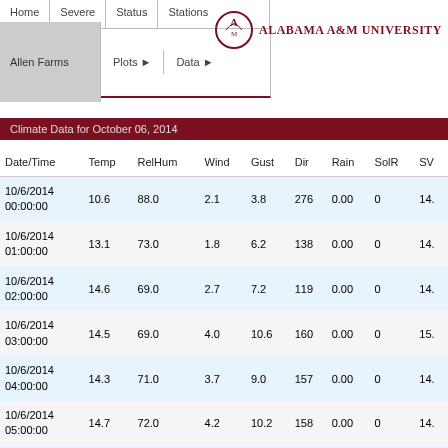Home | Severe | Status | Stations | Allen Farms | Plots ► | Data ►
[Figure (logo): Alabama A&M University logo with text]
Climate Data for October 06, 2014
| Date/Time | Temp | RelHum | Wind | Gust | Dir | Rain | SolR | SV |
| --- | --- | --- | --- | --- | --- | --- | --- | --- |
| 10/6/2014 00:00:00 | 10.6 | 88.0 | 2.1 | 3.8 | 276 | 0.00 | 0 | 14. |
| 10/6/2014 01:00:00 | 13.1 | 73.0 | 1.8 | 6.2 | 138 | 0.00 | 0 | 14. |
| 10/6/2014 02:00:00 | 14.6 | 69.0 | 2.7 | 7.2 | 119 | 0.00 | 0 | 14. |
| 10/6/2014 03:00:00 | 14.5 | 69.0 | 4.0 | 10.6 | 160 | 0.00 | 0 | 15. |
| 10/6/2014 04:00:00 | 14.3 | 71.0 | 3.7 | 9.0 | 157 | 0.00 | 0 | 14. |
| 10/6/2014 05:00:00 | 14.7 | 72.0 | 4.2 | 10.2 | 158 | 0.00 | 0 | 14. |
| 10/6/2014 ... |  |  |  |  |  |  |  |  |